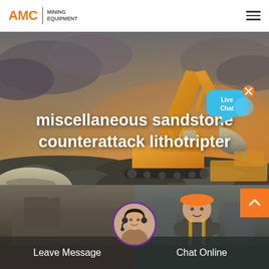[Figure (logo): AMC Mining Equipment logo with orange AMC text and vertical divider followed by MINING EQUIPMENT text]
[Figure (photo): Hamburger menu icon (three horizontal lines) in top right corner]
[Figure (photo): Large hero image of yellow excavator/mining equipment against dramatic orange-grey sky, working in a mining pit]
miscellaneous sandstone counterattack lithotripter
[Figure (illustration): Live Chat speech bubble widget in blue/cyan color with x close button in top right]
[Figure (photo): Bottom section with two panels: left showing mining equipment background with Leave Message label, right showing worker with orange hard hat with Chat Online label, and circular agent avatar in center]
Leave Message
Chat Online